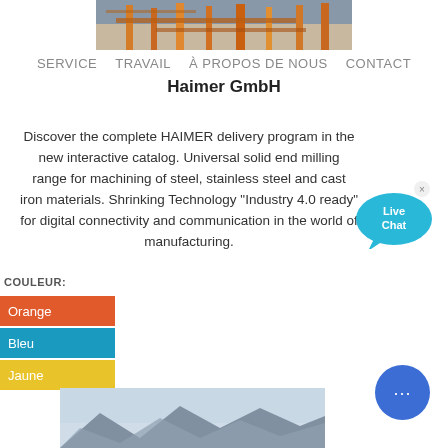[Figure (photo): Industrial/construction site photo with orange metal structures]
SERVICE   TRAVAIL   À PROPOS DE NOUS   CONTACT
Haimer GmbH
Discover the complete HAIMER delivery program in the new interactive catalog. Universal solid end milling range for machining of steel, stainless steel and cast iron materials. Shrinking Technology "Industry 4.0 ready" for digital connectivity and communication in the world of manufacturing.
[Figure (infographic): Live Chat speech bubble widget in cyan/blue]
COULEUR:
Orange
Bleu
Jaune
[Figure (photo): Mountain/landscape photo at the bottom of the page]
[Figure (infographic): Round blue chat button with ellipsis dots]